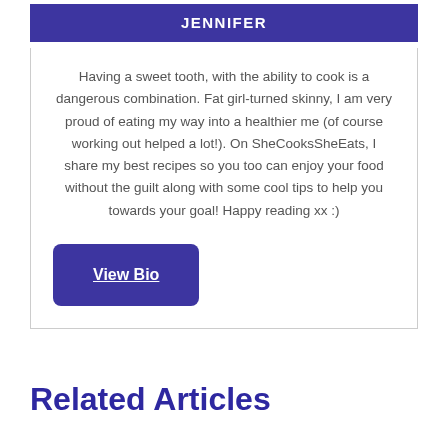JENNIFER
Having a sweet tooth, with the ability to cook is a dangerous combination. Fat girl-turned skinny, I am very proud of eating my way into a healthier me (of course working out helped a lot!). On SheCooksSheEats, I share my best recipes so you too can enjoy your food without the guilt along with some cool tips to help you towards your goal! Happy reading xx :)
View Bio
Related Articles